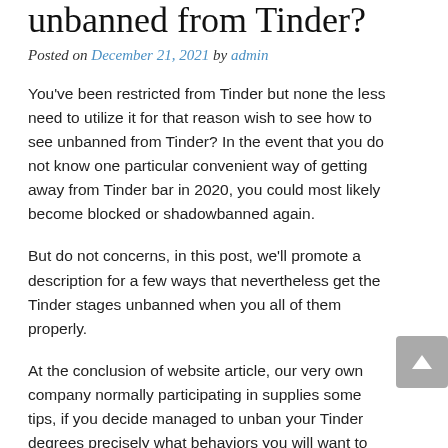unbanned from Tinder?
Posted on December 21, 2021 by admin
You've been restricted from Tinder but none the less need to utilize it for that reason wish to see how to see unbanned from Tinder? In the event that you do not know one particular convenient way of getting away from Tinder bar in 2020, you could most likely become blocked or shadowbanned again.
But do not concerns, in this post, we'll promote a description for a few ways that nevertheless get the Tinder stages unbanned when you all of them properly.
At the conclusion of website article, our very own company normally participating in supplies some tips, if you decide managed to unban your Tinder degrees precisely what behaviors you will want to eradicate later on if you want avoid getting the visibility blocked yet again.
Tinder club interest obtain the